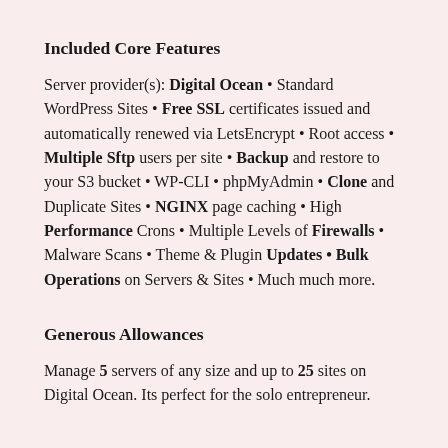Included Core Features
Server provider(s): Digital Ocean • Standard WordPress Sites • Free SSL certificates issued and automatically renewed via LetsEncrypt • Root access • Multiple Sftp users per site • Backup and restore to your S3 bucket • WP-CLI • phpMyAdmin • Clone and Duplicate Sites • NGINX page caching • High Performance Crons • Multiple Levels of Firewalls • Malware Scans • Theme & Plugin Updates • Bulk Operations on Servers & Sites • Much much more.
Generous Allowances
Manage 5 servers of any size and up to 25 sites on Digital Ocean. Its perfect for the solo entrepreneur.